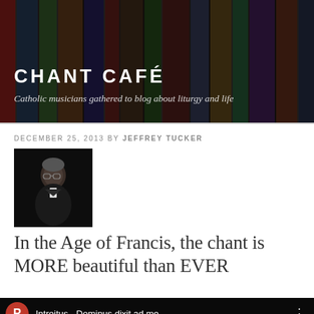CHANT CAFÉ
Catholic musicians gathered to blog about liturgy and life
DECEMBER 25, 2013 BY JEFFREY TUCKER
[Figure (photo): Small portrait photo of Jeffrey Tucker, a man in dark formal attire against a dark background]
In the Age of Francis, the chant is MORE beautiful than EVER
[Figure (screenshot): YouTube video thumbnail showing 'Introitus - Dominus dixit ad me' with a crowd scene in a church with candles and clergy, featuring a YouTube play button overlay and a red circle avatar with letter P]